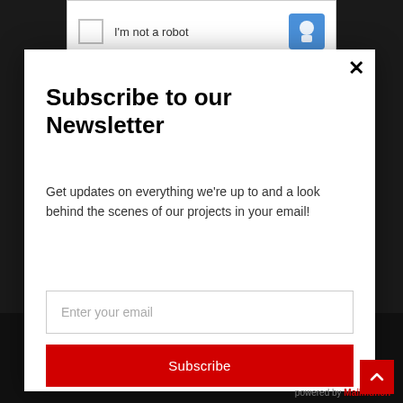[Figure (screenshot): Dark website background with reCAPTCHA widget at top]
Subscribe to our Newsletter
Get updates on everything we're up to and a look behind the scenes of our projects in your email!
Enter your email
Subscribe
powered by MailMunch